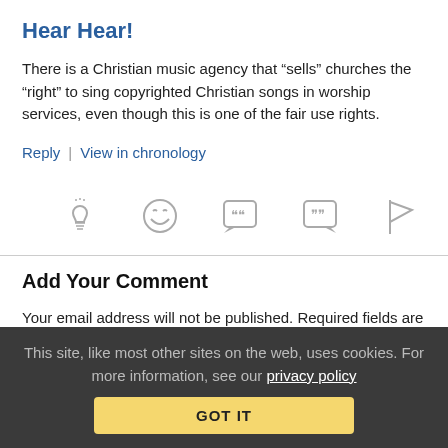Hear Hear!
There is a Christian music agency that “sells” churches the “right” to sing copyrighted Christian songs in worship services, even though this is one of the fair use rights.
Reply | View in chronology
[Figure (infographic): Row of five gray icons: lightbulb, laughing emoji face, quote speech bubble, quote speech bubble (alternate style), flag]
Add Your Comment
Your email address will not be published. Required fields are marked *
This site, like most other sites on the web, uses cookies. For more information, see our privacy policy
GOT IT